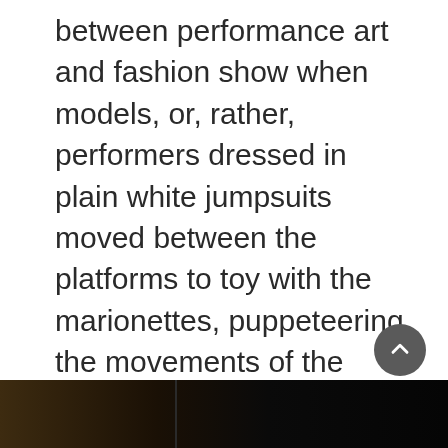between performance art and fashion show when models, or, rather, performers dressed in plain white jumpsuits moved between the platforms to toy with the marionettes, puppeteering the movements of the fashion models. Indeed, the spectacle created by this inventive set design continues English's practice of staging her collections within immersive environments. Combined with live music by a harpist, the sublime designs and the playful scale of the marionettes resulted in what felt like visual gluttony.
[Figure (photo): Dark photograph strip at the bottom of the page, showing what appears to be a dimly lit interior scene with warm brown/golden tones on the left fading to near black on the right.]